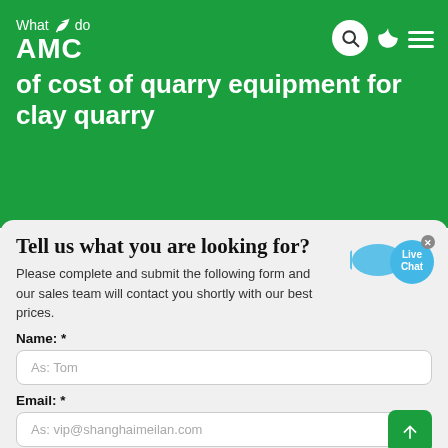What we do AMC of cost of quarry equipment for clay quarry
Tell us what you are looking for?
Please complete and submit the following form and our sales team will contact you shortly with our best prices.
Name: *
As: Tom
Email: *
As: vip@shanghaimeilan.com
Phone: *
With Country Code